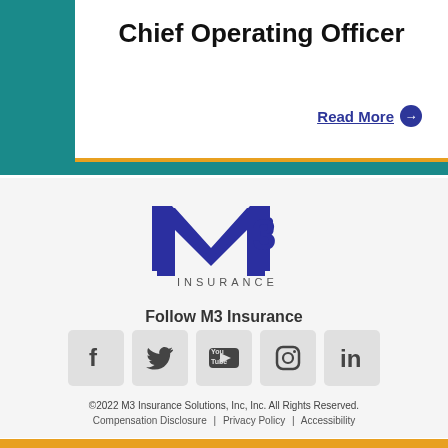Chief Operating Officer
Read More →
[Figure (logo): M3 Insurance logo with blue M3 letters and INSURANCE text below]
Follow M3 Insurance
[Figure (infographic): Social media icons: Facebook, Twitter, YouTube, Instagram, LinkedIn]
©2022 M3 Insurance Solutions, Inc, Inc. All Rights Reserved. Compensation Disclosure | Privacy Policy | Accessibility